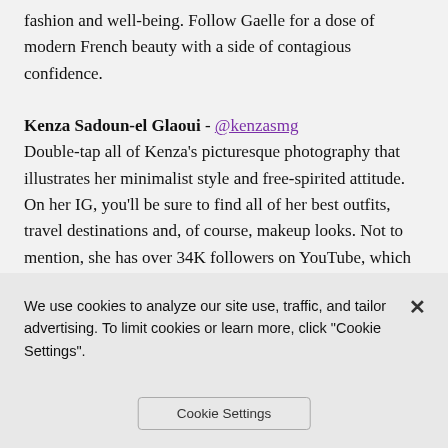fashion and well-being. Follow Gaelle for a dose of modern French beauty with a side of contagious confidence.
Kenza Sadoun-el Glaoui - @kenzasmg
Double-tap all of Kenza's picturesque photography that illustrates her minimalist style and free-spirited attitude. On her IG, you'll be sure to find all of her best outfits, travel destinations and, of course, makeup looks. Not to mention, she has over 34K followers on YouTube, which is where she spills all of those French beauty tips you've been dying to know about.
Lina Ose - @linaose
Follow Lina Ose and her classic French red lip all over the
We use cookies to analyze our site use, traffic, and tailor advertising. To limit cookies or learn more, click "Cookie Settings".